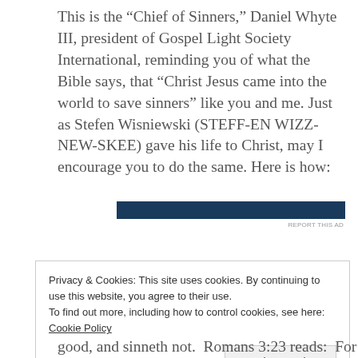This is the “Chief of Sinners,” Daniel Whyte III, president of Gospel Light Society International, reminding you of what the Bible says, that “Christ Jesus came into the world to save sinners” like you and me. Just as Stefen Wisniewski (STEFF-EN WIZZ-NEW-SKEE) gave his life to Christ, may I encourage you to do the same. Here is how:
[Figure (other): Dark blue horizontal banner advertisement bar]
REPORT THIS AD
Privacy & Cookies: This site uses cookies. By continuing to use this website, you agree to their use.
To find out more, including how to control cookies, see here: Cookie Policy
Close and accept
good, and sinneth not.  Romans 3:23 reads:  For all